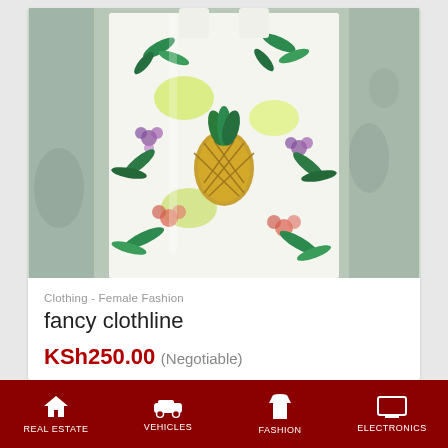[Figure (photo): A floral/tropical print dress or garment hanging against a worn concrete wall. The fabric features pineapples, tropical leaves in green, pink, and purple flowers on a white background.]
Clothing - Female Fashion
fancy clothline
KSh250.00 (Negotiable)
REAL ESTATE  VEHICLES  FASHION  ELECTRONICS